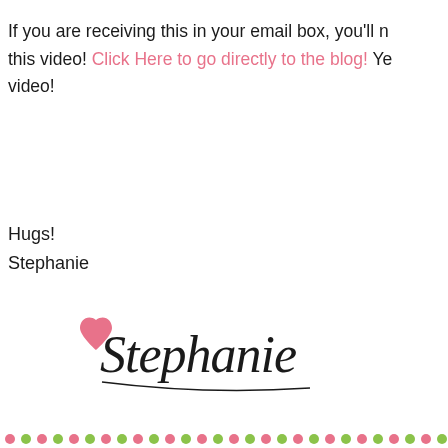If you are receiving this in your email box, you'll need to visit the blog to watch this video! Click Here to go directly to the blog! You can also subscribe to get video!
Hugs!
Stephanie
[Figure (illustration): Handwritten signature 'Stephanie' with a pink heart, in cursive script]
[Figure (logo): Pink 'Pin it' button followed by '13 COMMENTS' link, email forward icon, and social media sharing icons for Gmail, Blogger, Twitter, Facebook]
LABELS: PROJECT IDEAS, STAMPING PROJECTS, VID...
[Figure (other): Row of alternating pink and green dots at the bottom of the page]